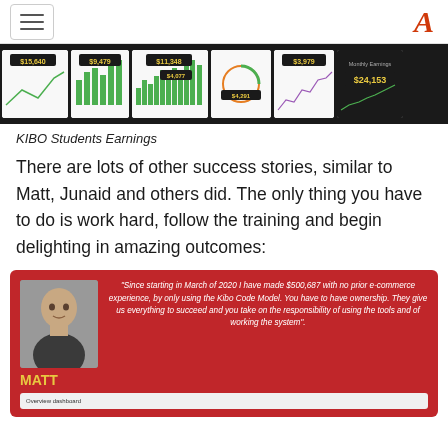[hamburger menu] [A logo]
[Figure (screenshot): Dashboard screenshots strip showing student earnings: $15,640, $9,479, $11,348, $4,077, $4,291, $3,979, $24,153]
KIBO Students Earnings
There are lots of other success stories, similar to Matt, Junaid and others did. The only thing you have to do is work hard, follow the training and begin delighting in amazing outcomes:
[Figure (infographic): Red testimonial card featuring Matt's photo and quote: "Since starting in March of 2020 I have made $500,687 with no prior e-commerce experience, by only using the Kibo Code Model. You have to have ownership. They give us everything to succeed and you take on the responsibility of using the tools and of working the system". Name label MATT in gold. Below shows overview dashboard strip.]